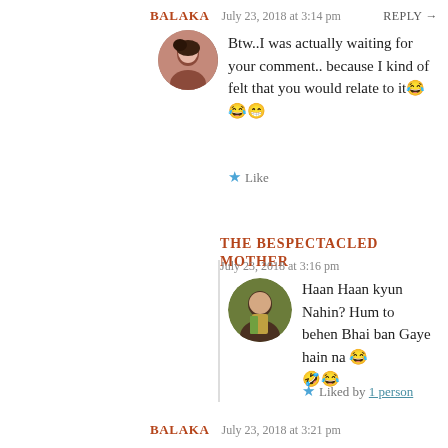BALAKA  July 23, 2018 at 3:14 pm  REPLY →
Btw..I was actually waiting for your comment.. because I kind of felt that you would relate to it😂😂😁
★ Like
THE BESPECTACLED MOTHER
July 23, 2018 at 3:16 pm
Haan Haan kyun Nahin? Hum to behen Bhai ban Gaye hain na 😂 🤣😂
★ Liked by 1 person
BALAKA  July 23, 2018 at 3:21 pm